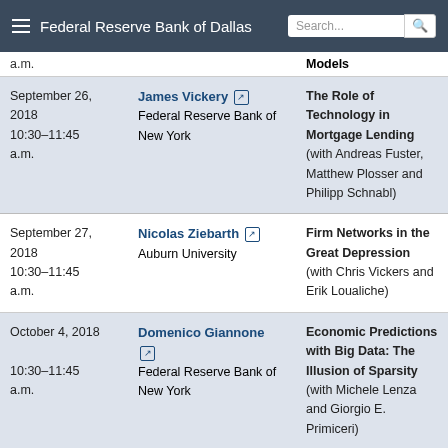Federal Reserve Bank of Dallas
| Date | Speaker | Paper |
| --- | --- | --- |
| a.m. |  | Models |
| September 26, 2018
10:30–11:45 a.m. | James Vickery
Federal Reserve Bank of New York | The Role of Technology in Mortgage Lending
(with Andreas Fuster, Matthew Plosser and Philipp Schnabl) |
| September 27, 2018
10:30–11:45 a.m. | Nicolas Ziebarth
Auburn University | Firm Networks in the Great Depression
(with Chris Vickers and Erik Loualiche) |
| October 4, 2018
10:30–11:45 a.m. | Domenico Giannone
Federal Reserve Bank of New York | Economic Predictions with Big Data: The Illusion of Sparsity
(with Michele Lenza and Giorgio E. Primiceri) |
Back to Top
October ... Bernard Marckovie ... OTC Intermediaries